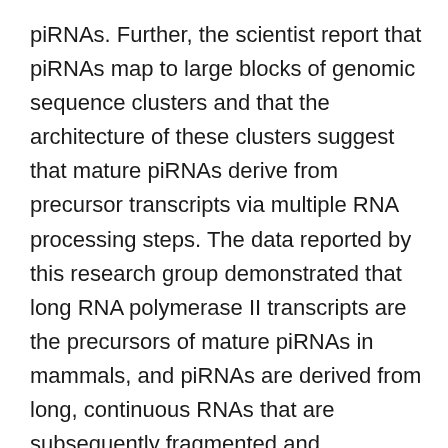piRNAs. Further, the scientist report that piRNAs map to large blocks of genomic sequence clusters and that the architecture of these clusters suggest that mature piRNAs derive from precursor transcripts via multiple RNA processing steps. The data reported by this research group demonstrated that long RNA polymerase II transcripts are the precursors of mature piRNAs in mammals, and piRNAs are derived from long, continuous RNAs that are subsequently fragmented and processed into piRNAs.
The biogenesis of piRNAs and their roles in transposon silencing and the function of the Piwi-